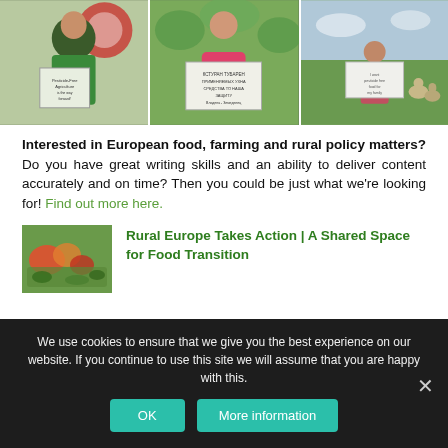[Figure (photo): Three photos in a row: left - woman in green shirt holding a sign with text about agriculture; center - woman in pink shirt holding a handwritten sign in another language; right - man standing in a field holding a white sign, with two deer/goats behind him]
Interested in European food, farming and rural policy matters? Do you have great writing skills and an ability to deliver content accurately and on time? Then you could be just what we're looking for! Find out more here.
[Figure (photo): Thumbnail photo showing colorful vegetables and plants in a market or garden setting]
Rural Europe Takes Action | A Shared Space for Food Transition
We use cookies to ensure that we give you the best experience on our website. If you continue to use this site we will assume that you are happy with this.